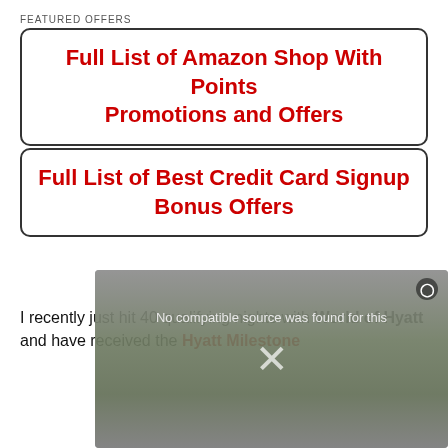FEATURED OFFERS
Full List of Amazon Shop With Points Promotions and Offers
Full List of Best Credit Card Signup Bonus Offers
I recently just hit 40 qualifying nights with World of Hyatt and have received the Hyatt Milestone
[Figure (screenshot): Video overlay showing 'No compatible source was found for this' message with a close button and X mark, over a blurred outdoor patio image]